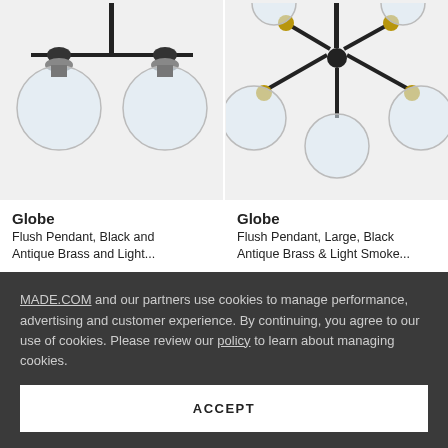[Figure (photo): Globe flush pendant lamp with two clear glass globe bulbs on black and antique brass frame]
Globe
Flush Pendant, Black and Antique Brass and Light...
£ 85
[Figure (photo): Globe large flush pendant lamp with multiple clear glass globe bulbs on black and antique brass frame]
Globe
Flush Pendant, Large, Black Antique Brass & Light Smoke...
£ 110
MADE.COM and our partners use cookies to manage performance, advertising and customer experience. By continuing, you agree to our use of cookies. Please review our policy to learn about managing cookies.
ACCEPT